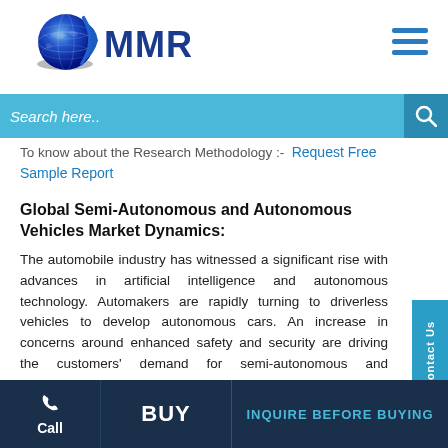[Figure (logo): MMR globe logo with blue globe and MMR text in dark blue]
Search here..
To know about the Research Methodology :- Request Free Sample Report
Global Semi-Autonomous and Autonomous Vehicles Market Dynamics:
The automobile industry has witnessed a significant rise with advances in artificial intelligence and autonomous technology. Automakers are rapidly turning to driverless vehicles to develop autonomous cars. An increase in concerns around enhanced safety and security are driving the customers' demand for semi-autonomous and autonomous vehicle technologies. The adoption of the semi-autonomous and autonomous vehicle is different regions in each region.
Contact Us
Call  BUY  INQUIRE BEFORE BUYING